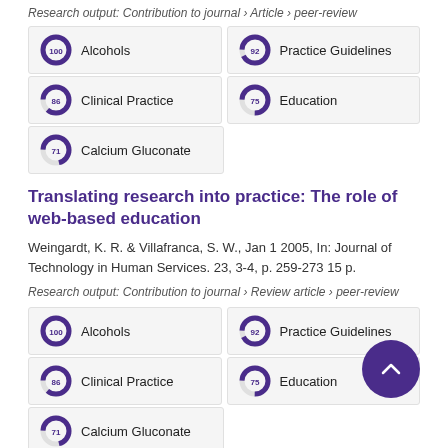Research output: Contribution to journal › Article › peer-review
[Figure (infographic): Grid of keyword badges with donut chart icons: Alcohols 100%, Practice Guidelines 92%, Clinical Practice 86%, Education 75%, Calcium Gluconate 71%]
Translating research into practice: The role of web-based education
Weingardt, K. R. & Villafranca, S. W., Jan 1 2005, In: Journal of Technology in Human Services. 23, 3-4, p. 259-273 15 p.
Research output: Contribution to journal › Review article › peer-review
[Figure (infographic): Grid of keyword badges with donut chart icons: Alcohols 100%, Practice Guidelines 92%, Clinical Practice 86%, Education 75%, Calcium Gluconate 71%]
[Figure (other): Scroll-to-top button with upward chevron icon]
Translating research into practice: The role of web-